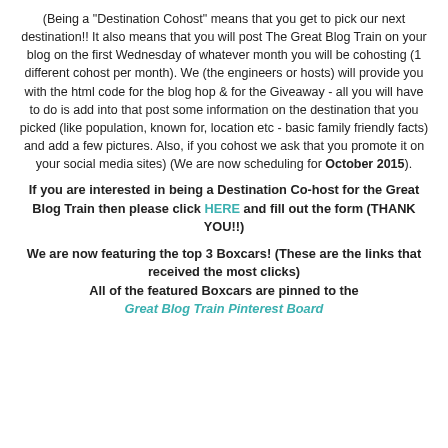(Being a "Destination Cohost" means that you get to pick our next destination!!  It also means that you will post The Great Blog Train on your blog on the first Wednesday of whatever month you will be cohosting (1 different cohost per month).  We (the engineers or hosts) will provide you with the html code for the blog hop & for the Giveaway - all you will have to do is add into that post some information on the destination that you picked (like population, known for, location etc - basic family friendly facts) and add a few pictures.  Also, if you cohost we ask that you promote it on your social media sites) (We are now scheduling for October 2015).
If you are interested in being a Destination Co-host for the Great Blog Train then please click HERE and fill out the form (THANK YOU!!)
We are now featuring the top 3 Boxcars!  (These are the links that received the most clicks)
All of the featured Boxcars are pinned to the
Great Blog Train Pinterest Board